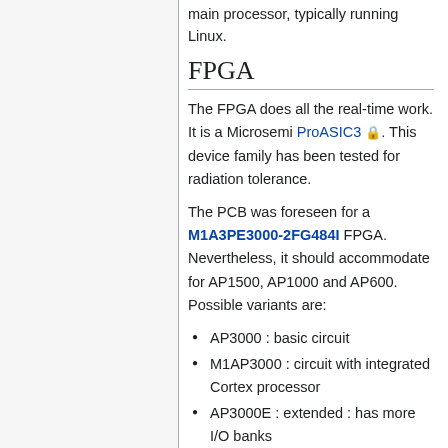main processor, typically running Linux.
FPGA
The FPGA does all the real-time work. It is a Microsemi ProASIC3 🔒. This device family has been tested for radiation tolerance.
The PCB was foreseen for a M1A3PE3000-2FG484I FPGA. Nevertheless, it should accommodate for AP1500, AP1000 and AP600. Possible variants are:
AP3000 : basic circuit
M1AP3000 : circuit with integrated Cortex processor
AP3000E : extended : has more I/O banks
AP3000L : low power
Connectors
Board to board
The inter-board connection is a serial bus